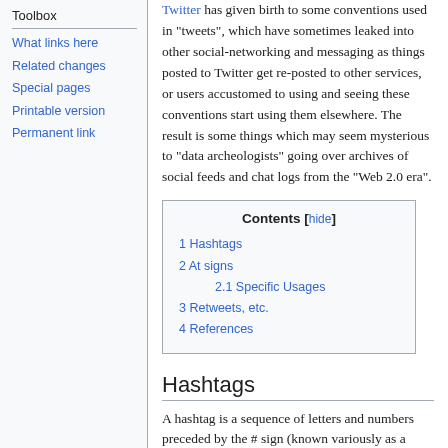Twitter has given birth to some conventions used in "tweets", which have sometimes leaked into other social-networking and messaging as things posted to Twitter get re-posted to other services, or users accustomed to using and seeing these conventions start using them elsewhere. The result is some things which may seem mysterious to "data archeologists" going over archives of social feeds and chat logs from the "Web 2.0 era".
Toolbox
What links here
Related changes
Special pages
Printable version
Permanent link
| Contents |
| --- |
| 1 Hashtags |
| 2 At signs |
| 2.1 Specific Usages |
| 3 Retweets, etc. |
| 4 References |
Hashtags
A hashtag is a sequence of letters and numbers preceded by the # sign (known variously as a hash, number sign, sharp